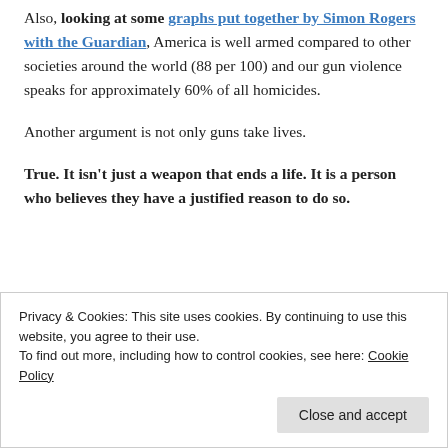Also, looking at some graphs put together by Simon Rogers with the Guardian, America is well armed compared to other societies around the world (88 per 100) and our gun violence speaks for approximately 60% of all homicides.
Another argument is not only guns take lives.
True. It isn't just a weapon that ends a life. It is a person who believes they have a justified reason to do so.
Privacy & Cookies: This site uses cookies. By continuing to use this website, you agree to their use. To find out more, including how to control cookies, see here: Cookie Policy